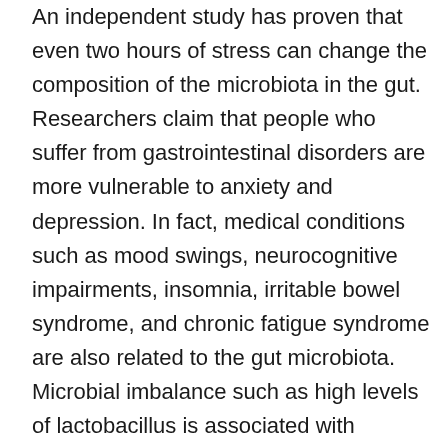An independent study has proven that even two hours of stress can change the composition of the microbiota in the gut. Researchers claim that people who suffer from gastrointestinal disorders are more vulnerable to anxiety and depression. In fact, medical conditions such as mood swings, neurocognitive impairments, insomnia, irritable bowel syndrome, and chronic fatigue syndrome are also related to the gut microbiota. Microbial imbalance such as high levels of lactobacillus is associated with constant mood swings in patients with Chronic Fatigue Syndrome.
Probiotics have been touted as a cure for gut-brain disorders and for good reason; studies probiotics have shown a diminishing effect on the stress hormone cortisol, which thereby decreases depression and anxiety.
Although probiotics are naturally found in a human body, they